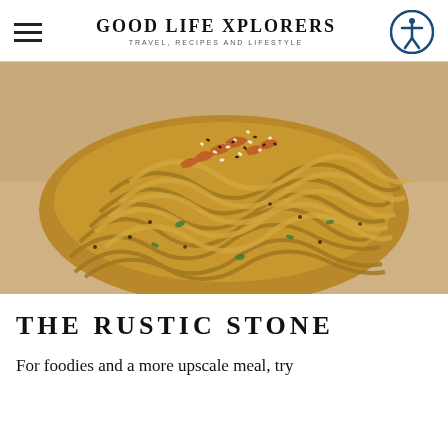GOOD LIFE XPLORERS — TRAVEL, RECIPES AND LIFESTYLE
[Figure (photo): Close-up photo of a pile of stir-fried udon noodles topped with sesame seeds (black and white), shredded carrots, and greens, served on a light paper/stone surface.]
THE RUSTIC STONE
For foodies and a more upscale meal, try